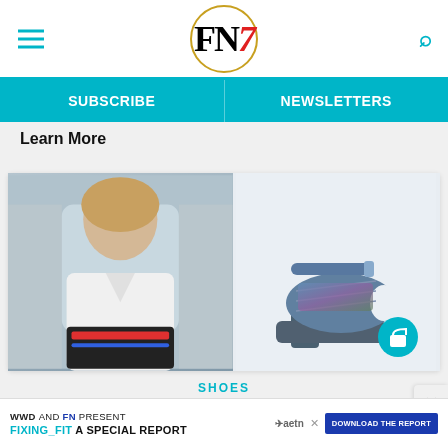FN7 — Footwear News header with hamburger menu and search icon
SUBSCRIBE   NEWSLETTERS
Learn More
[Figure (photo): Article card with a photo of a woman in a white shirt and colorful skirt on the left, and a platform high-heel shoe on the right with a teal shopping bag icon button]
SHOES
How to Shop Carrie Bradshaw's
WWD AND FN PRESENT FIXING_FIT A SPECIAL REPORT  DOWNLOAD THE REPORT